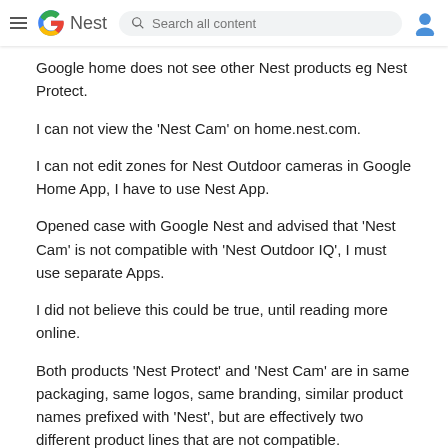Nest — Search all content
Google home does not see other Nest products eg Nest Protect.
I can not view the 'Nest Cam' on home.nest.com.
I can not edit zones for Nest Outdoor cameras in Google Home App, I have to use Nest App.
Opened case with Google Nest and advised that 'Nest Cam' is not compatible with 'Nest Outdoor IQ', I must use separate Apps.
I did not believe this could be true, until reading more online.
Both products 'Nest Protect' and 'Nest Cam' are in same packaging, same logos, same branding, similar product names prefixed with 'Nest', but are effectively two different product lines that are not compatible.
I feel for the support staff, they will be getting lots of calls...